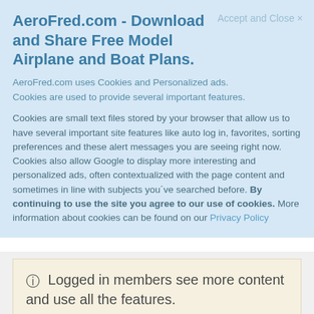AeroFred.com - Download and Share Free Model Airplane and Boat Plans.
Accept and Close ×
AeroFred.com uses Cookies and Personalized ads.
Cookies are used to provide several important features.
Cookies are small text files stored by your browser that allow us to have several important site features like auto log in, favorites, sorting preferences and these alert messages you are seeing right now. Cookies also allow Google to display more interesting and personalized ads, often contextualized with the page content and sometimes in line with subjects you´ve searched before. By continuing to use the site you agree to our use of cookies. More information about cookies can be found on our Privacy Policy
Logged in members see more content and use all the features.
See all the site content, full home page, related plans.